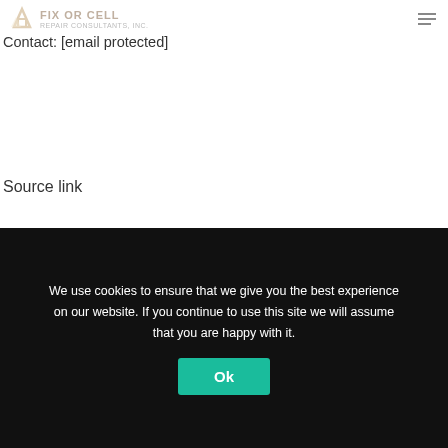reach out using the email given below.
Fix Or Cell
Contact: [email protected]
Source link
Posted in : Amazon, elon musk, industry, Jeff Bezos, news
We use cookies to ensure that we give you the best experience on our website. If you continue to use this site we will assume that you are happy with it.